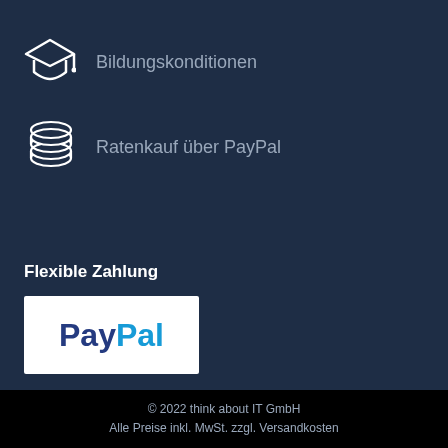Bildungskonditionen
Ratenkauf über PayPal
Flexible Zahlung
[Figure (logo): PayPal logo in white box]
+49 234 333 6721-7000
© 2022 think about IT GmbH
Alle Preise inkl. MwSt. zzgl. Versandkosten